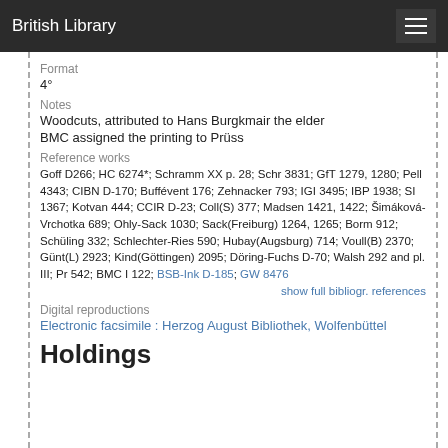British Library
Format
4°
Notes
Woodcuts, attributed to Hans Burgkmair the elder
BMC assigned the printing to Prüss
Reference works
Goff D266; HC 6274*; Schramm XX p. 28; Schr 3831; GfT 1279, 1280; Pell 4343; CIBN D-170; Buffévent 176; Zehnacker 793; IGI 3495; IBP 1938; SI 1367; Kotvan 444; CCIR D-23; Coll(S) 377; Madsen 1421, 1422; Šimáková-Vrchotka 689; Ohly-Sack 1030; Sack(Freiburg) 1264, 1265; Borm 912; Schüling 332; Schlechter-Ries 590; Hubay(Augsburg) 714; Voull(B) 2370; Günt(L) 2923; Kind(Göttingen) 2095; Döring-Fuchs D-70; Walsh 292 and pl. III; Pr 542; BMC I 122; BSB-Ink D-185; GW 8476
show full bibliogr. references
Digital reproductions
Electronic facsimile : Herzog August Bibliothek, Wolfenbüttel
Holdings